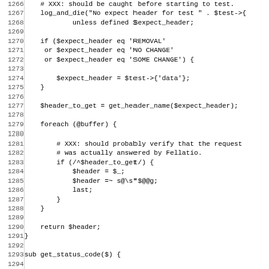[Figure (screenshot): Source code listing in monospace font showing Perl code lines 1266-1298, with line numbers on the left and code on the right. Code includes log_and_die call, if/elsif conditions checking $expect_header for REMOVAL/NO CHANGE/SOME CHANGE, assignment of $header_to_get, foreach loop over @buffer with regex matching, return statement, closing brace, sub get_status_code definition, and start of another foreach loop.]